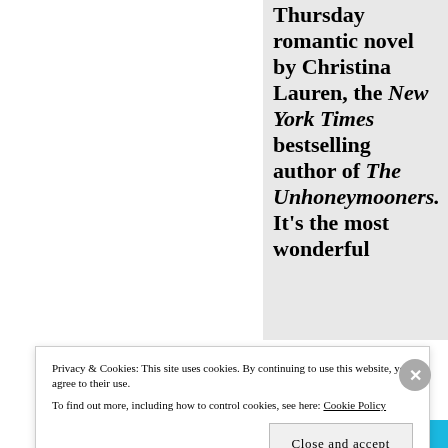Thursday romantic novel by Christina Lauren, the New York Times bestselling author of The Unhoneymooners. It's the most wonderful
Privacy & Cookies: This site uses cookies. By continuing to use this website, you agree to their use. To find out more, including how to control cookies, see here: Cookie Policy
Close and accept